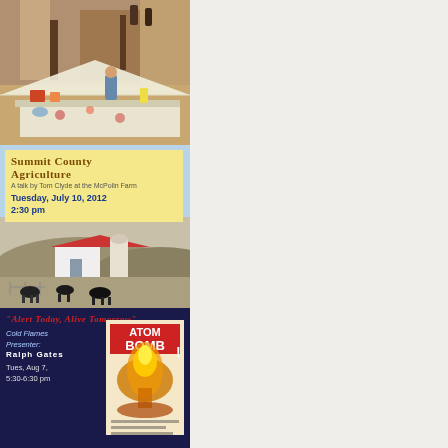[Figure (photo): Outdoor scene with people near rocky cliffs, tent setup with food table covered in floral cloth]
[Figure (infographic): Event flyer for Summit County Agriculture talk by Tom Clyde at the McPolin Farm, Tuesday July 10 2012 at 2:30pm, with yellow text box on light blue background and farm photo with horses]
[Figure (infographic): Dark navy event flyer reading Alert Today Alive Tomorrow, featuring Cold Flames presenter Ralph Gates, Tues Aug 7 5:30-6:30pm, with Atom Bomb movie poster image]